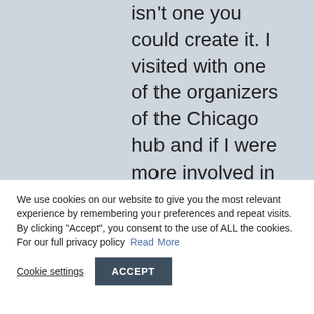isn't one you could create it. I visited with one of the organizers of the Chicago hub and if I were more involved in BtoB travel industry I'd
We use cookies on our website to give you the most relevant experience by remembering your preferences and repeat visits. By clicking "Accept", you consent to the use of ALL the cookies. For our full privacy policy  Read More
Cookie settings
ACCEPT